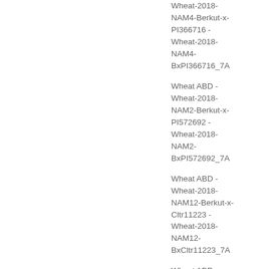Wheat ABD - Wheat-2018-NAM4-Berkut-x-PI366716 - Wheat-2018-NAM4-BxPI366716_7A
Wheat ABD - Wheat-2018-NAM2-Berkut-x-PI572692 - Wheat-2018-NAM2-BxPI572692_7A
Wheat ABD - Wheat-2018-NAM12-Berkut-x-Cltr11223 - Wheat-2018-NAM12-BxCltr11223_7A
Wheat ABD - Wheat-2018-NAM11-Berkut-x-Cltr4175 - Wheat-2018-NAM11-BxCltr4175_7A
Wheat ABD - Wheat-2018-